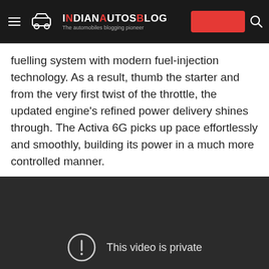IndianAutosBlog – The automobiles blogging pioneer
fuelling system with modern fuel-injection technology. As a result, thumb the starter and from the very first twist of the throttle, the updated engine's refined power delivery shines through. The Activa 6G picks up pace effortlessly and smoothly, building its power in a much more controlled manner.
[Figure (screenshot): Embedded video player showing 'This video is private' error message on a dark background.]